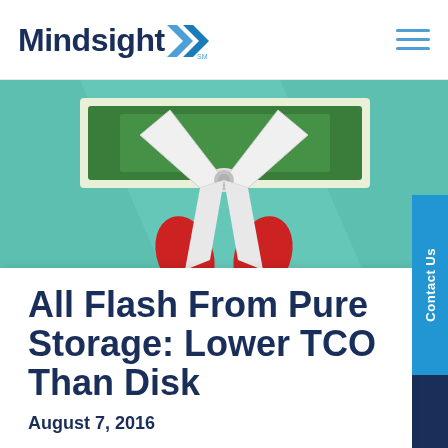Mindsight [logo with arrows] | hamburger menu
[Figure (illustration): Illustration of scissors cutting a dollar bill/money on a teal/green background. The scissors are white and red, cutting through green currency notes.]
All Flash From Pure Storage: Lower TCO Than Disk
August 7, 2016